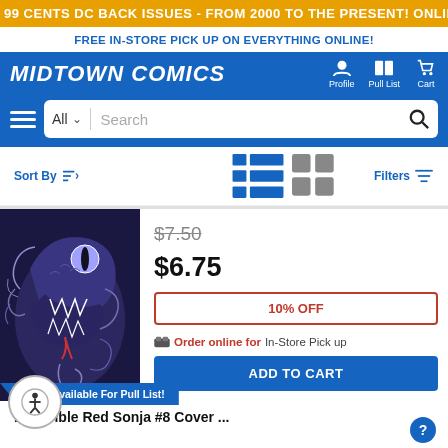99 CENTS DC BACK ISSUES - FROM 2000 TO THE PRESENT! ONLINE ONLY, TODAY ONLY!
FREE IN-STORE PICK UP ON EVERYTHING ONLINE!
MIDTOWN COMICS
Sort By
Filters
[Figure (photo): Comic book cover art showing a serpent/snake monster with an open mouth, sharp teeth, a reptilian eye, and decorative feather-like elements in dark blue/purple tones]
$7.50
$6.75
10% OFF
Order online for In-Store Pick up
ADD TO CART
Available For Pull List!
Invincible Red Sonja #8 Cover ...